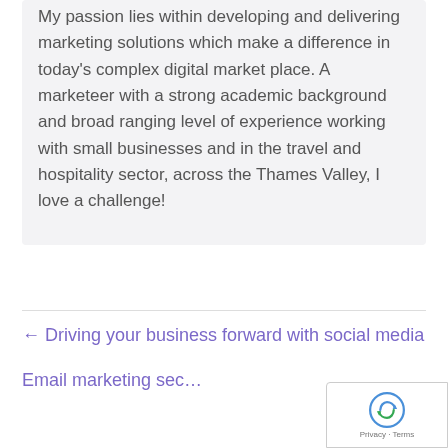My passion lies within developing and delivering marketing solutions which make a difference in today's complex digital market place. A marketeer with a strong academic background and broad ranging level of experience working with small businesses and in the travel and hospitality sector, across the Thames Valley, I love a challenge!
← Driving your business forward with social media
Email marketing sec…